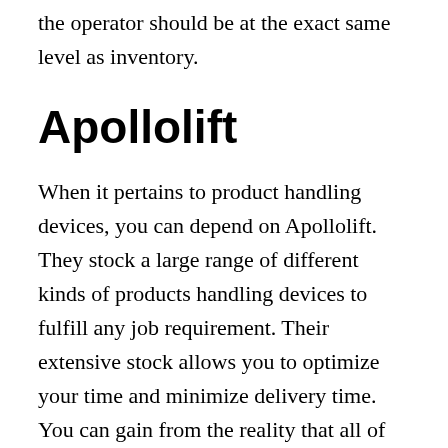the operator should be at the exact same level as inventory.
Apollolift
When it pertains to product handling devices, you can depend on Apollolift. They stock a large range of different kinds of products handling devices to fulfill any job requirement. Their extensive stock allows you to optimize your time and minimize delivery time. You can gain from the reality that all of their inventory is provided on working days. If you need a specific item